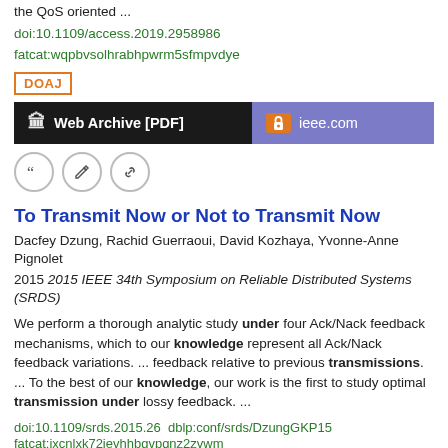the QoS oriented  ...
doi:10.1109/access.2019.2958986
fatcat:wqpbvsolhrabhpwrm5sfmpvdye
DOAJ
[Figure (other): Two buttons: 'Web Archive [PDF]' on black background, and 'ieee.com' on purple background with orange lock icon]
[Figure (other): Three circular icon buttons: quote, edit, and link]
To Transmit Now or Not to Transmit Now
Dacfey Dzung, Rachid Guerraoui, David Kozhaya, Yvonne-Anne Pignolet
2015 2015 IEEE 34th Symposium on Reliable Distributed Systems (SRDS)
We perform a thorough analytic study under four Ack/Nack feedback mechanisms, which to our knowledge represent all Ack/Nack feedback variations.  ...  feedback relative to previous transmissions.  ...  To the best of our knowledge, our work is the first to study optimal transmission under lossy feedback.  ...
doi:10.1109/srds.2015.26  dblp:conf/srds/DzungGKP15
fatcat:ixcnlxk72jevhhbgvpqnz2zvwm